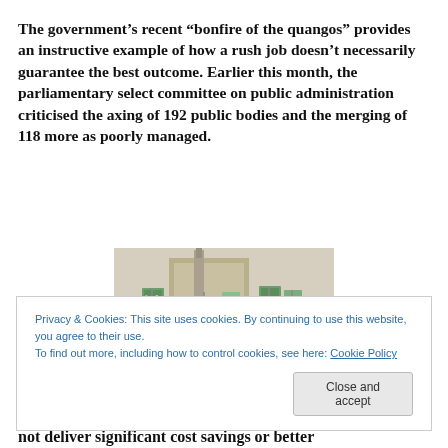The government's recent “bonfire of the quangos” provides an instructive example of how a rush job doesn’t necessarily guarantee the best outcome. Earlier this month, the parliamentary select committee on public administration criticised the axing of 192 public bodies and the merging of 118 more as poorly managed.
[Figure (photo): Protest scene with people holding banners and placards, in front of a building]
Privacy & Cookies: This site uses cookies. By continuing to use this website, you agree to their use.
To find out more, including how to control cookies, see here: Cookie Policy
not deliver significant cost savings or better